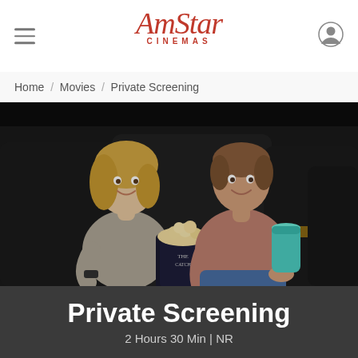AmStar Cinemas
Home / Movies / Private Screening
[Figure (photo): A couple sitting in luxury recliner seats in a dark cinema. The woman on the left has blonde hair, is smiling, and holds a large popcorn bucket. The man on the right is smiling and holding a teal drink cup. Both are in dark leather recliners with wooden armrests.]
Private Screening
2 Hours 30 Min | NR